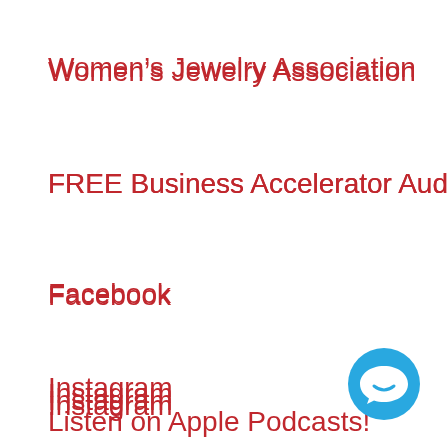Women's Jewelry Association
FREE Business Accelerator Audit
Facebook
Instagram
Listen on Apple Podcasts!
[Figure (illustration): Blue circular chat/messaging button icon in bottom-right corner]